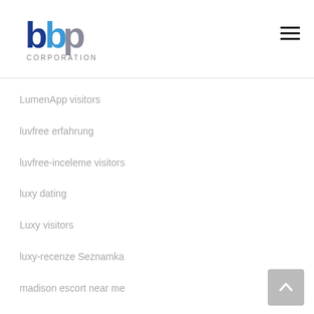[Figure (logo): BBP Corporation logo with blue and grey letters and 'CORPORATION' text below]
LumenApp visitors
luvfree erfahrung
luvfree-inceleme visitors
luxy dating
Luxy visitors
luxy-recenze Seznamka
madison escort near me
madison escort service
main apps
main reviews